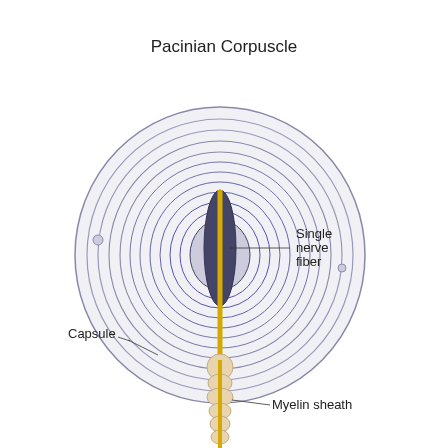[Figure (illustration): Anatomical illustration of a Pacinian Corpuscle showing concentric onion-like layers forming a large circular capsule. A single nerve fiber (yellow/gold) runs through the center into the dark inner core. Below the corpuscle, the nerve fiber is surrounded by a myelin sheath (cream/pink segmented structure). Labels point to: Single nerve fiber (upper right), Capsule (lower left), Myelin sheath (lower center-right). Title reads 'Pacinian Corpuscle' at top.]